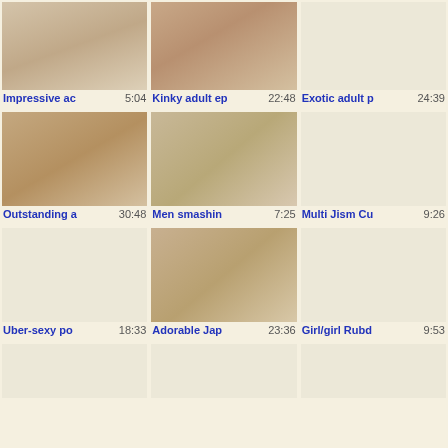[Figure (screenshot): Video thumbnail grid showing adult video listings with titles and durations. Row 1: 'Impressive ac' 5:04, 'Kinky adult ep' 22:48, 'Exotic adult p' 24:39. Row 2: 'Outstanding a' 30:48, 'Men smashin' 7:25, 'Multi Jism Cu' 9:26. Row 3: 'Uber-sexy po' 18:33, 'Adorable Jap' 23:36, 'Girl/girl Rubd' 9:53. Row 4: partial thumbnails.]